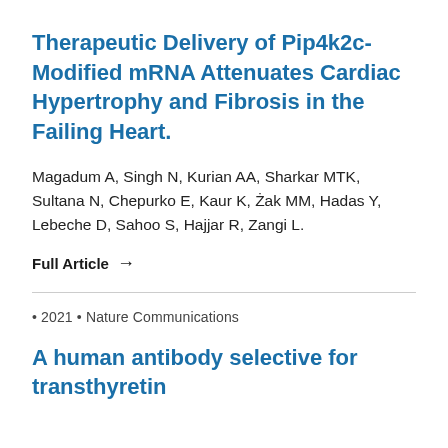Therapeutic Delivery of Pip4k2c-Modified mRNA Attenuates Cardiac Hypertrophy and Fibrosis in the Failing Heart.
Magadum A, Singh N, Kurian AA, Sharkar MTK, Sultana N, Chepurko E, Kaur K, Żak MM, Hadas Y, Lebeche D, Sahoo S, Hajjar R, Zangi L.
Full Article →
• 2021 • Nature Communications
A human antibody selective for transthyretin